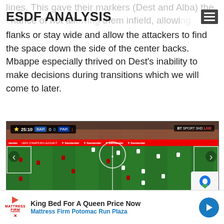ESDF ANALYSIS
lines. This gave their markers (Dest and Alba) the chance of not allowing them infield, allowing the fullbacks more space to move into down the flanks or stay wide and allow the attackers to find the space down the side of the center backs. Mbappe especially thrived on Dest’s inability to make decisions during transitions which we will come to later.
[Figure (screenshot): Football match screenshot from BT Sport showing Barcelona vs PSG (BAR 0-0 PAR) at 25:10, Champions League, with players visible on a green football pitch at an empty stadium.]
King Bed For A Queen Price Now Mattress Firm Potomac Run Plaza